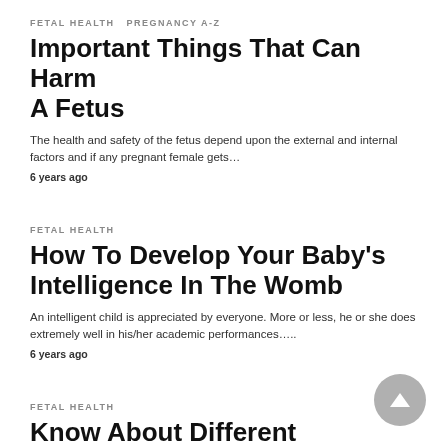FETAL HEALTH  PREGNANCY A-Z
Important Things That Can Harm A Fetus
The health and safety of the fetus depend upon the external and internal factors and if any pregnant female gets…
6 years ago
FETAL HEALTH
How To Develop Your Baby's Intelligence In The Womb
An intelligent child is appreciated by everyone. More or less, he or she does extremely well in his/her academic performances….
6 years ago
FETAL HEALTH
Know About Different Positions